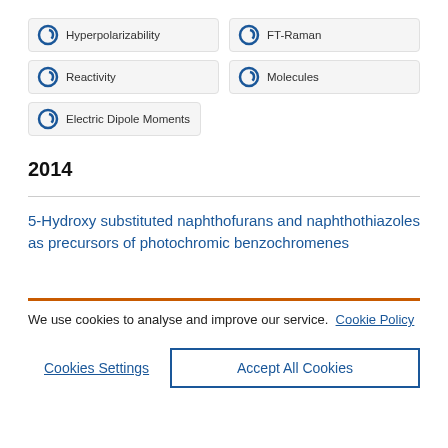Hyperpolarizability
FT-Raman
Reactivity
Molecules
Electric Dipole Moments
2014
5-Hydroxy substituted naphthofurans and naphthothiazoles as precursors of photochromic benzochromenes
We use cookies to analyse and improve our service. Cookie Policy
Cookies Settings
Accept All Cookies